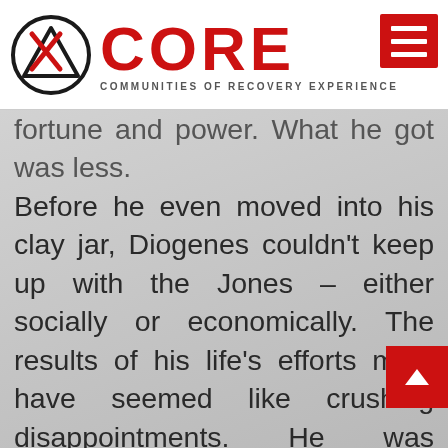CORE — COMMUNITIES OF RECOVERY EXPERIENCE
fortune and power. What he got was less. Before he even moved into his clay jar, Diogenes couldn't keep up with the Jones – either socially or economically. The results of his life's efforts must have seemed like crushing disappointments. He was terrified to admit that he was like everybody else, and he probably lived in constant anxiety that he was ordinary, wasn't good enough, or would be found... Diogenes' ego told him he was better than